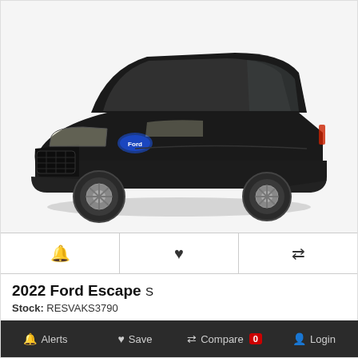[Figure (photo): 2022 Ford Escape S in black, front three-quarter view on white background]
2022 Ford Escape S
Stock: RESVAKS3790
MSRP: $26,510
Alerts  Save  Compare 0  Login